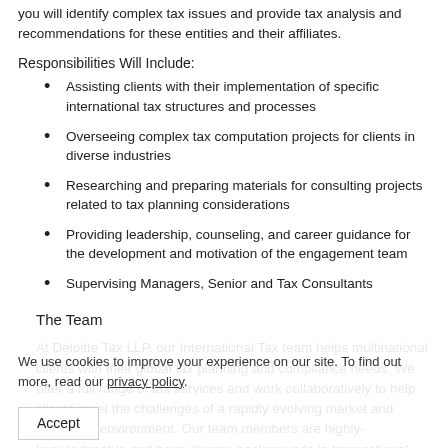you will identify complex tax issues and provide tax analysis and recommendations for these entities and their affiliates.
Responsibilities Will Include:
Assisting clients with their implementation of specific international tax structures and processes
Overseeing complex tax computation projects for clients in diverse industries
Researching and preparing materials for consulting projects related to tax planning considerations
Providing leadership, counseling, and career guidance for the development and motivation of the engagement team
Supervising Managers, Senior and Tax Consultants
The Team
At Deloitte Tax LLP, our International Tax team helps multinational clients with their global tax planning and compliance needs. We offer a full range of tax services and work collaboratively to help clients meet the challenges of a rapidly evolving market and regulatory environment. Our team members are highly-knowledgeable and have diverse backgrounds in transactional analysis and support, compliance and planning for inbound and
We use cookies to improve your experience on our site. To find out more, read our privacy policy.